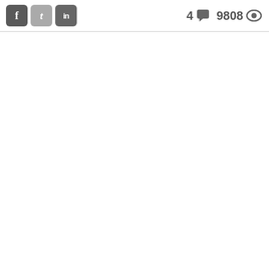[Figure (screenshot): Social media share buttons (Facebook, Twitter, LinkedIn) on the left; comment count 4 with speech bubble icon and view count 9808 with eye icon on the right, in a header bar with bottom border]
4 9808